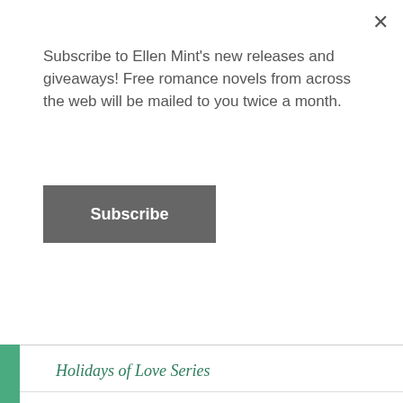Subscribe to Ellen Mint's new releases and giveaways! Free romance novels from across the web will be mailed to you twice a month.
Subscribe
Holidays of Love Series
Standalone
Inquisition Series